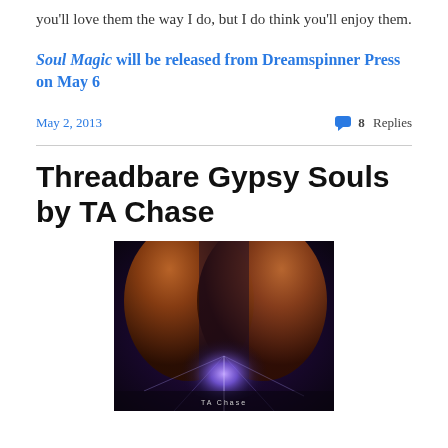you'll love them the way I do, but I do think you'll enjoy them.
Soul Magic will be released from Dreamspinner Press on May 6
May 2, 2013
8 Replies
Threadbare Gypsy Souls by TA Chase
[Figure (photo): Book cover for Threadbare Gypsy Souls showing two faces with glowing purple/blue light between them against a dark background]